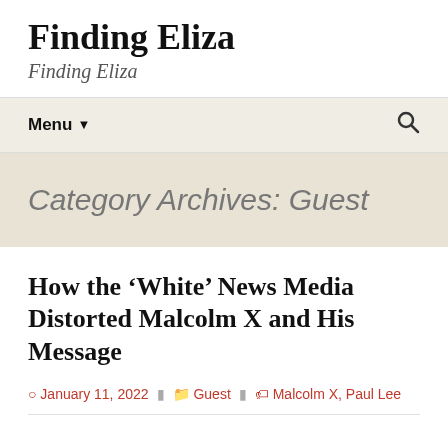Finding Eliza
Finding Eliza
Menu ▾   🔍
Category Archives: Guest
How the ‘White’ News Media Distorted Malcolm X and His Message
January 11, 2022  Guest  Malcolm X, Paul Lee